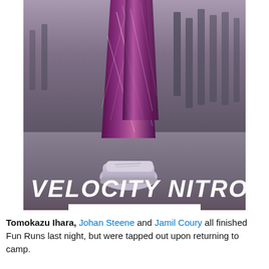[Figure (photo): Runner's legs in purple/white patterned leggings and a white/grey running shoe (Velocity Nitro 2) on a road, with dark bollards blurred in background. Overlay text reads 'VELOCITY NITRO 2' in bold italic white, and a white 'SHOP NOW' button below.]
Tomokazu Ihara, Johan Steene and Jamil Coury all finished Fun Runs last night, but were tapped out upon returning to camp.